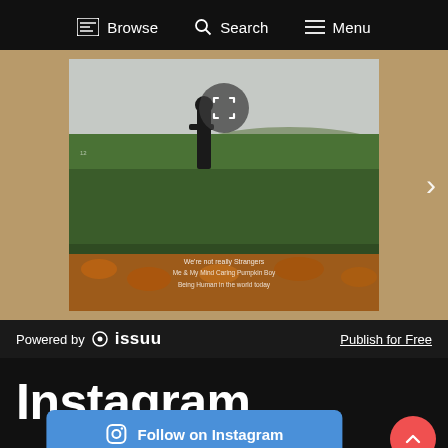Browse  Search  Menu
[Figure (screenshot): Issuu document viewer showing a field/nature magazine spread with a person standing in a field of flowers/crops. Tan/caramel background. Navigation arrow on right. Focus/expand icon overlay on the image.]
Powered by issuu
Publish for Free
Instagram
Follow on Instagram